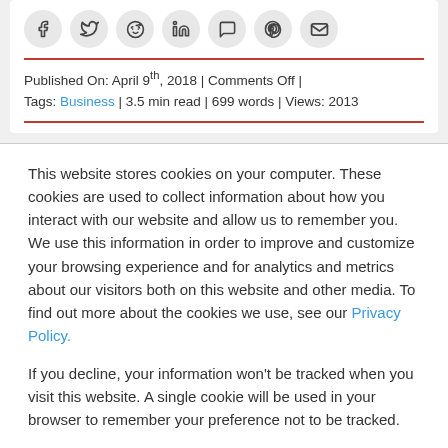[Figure (other): Social media share icons in circles: Facebook, Twitter, Reddit, LinkedIn, WhatsApp, Pinterest, Email]
Published On: April 9th, 2018 | Comments Off | Tags: Business | 3.5 min read | 699 words | Views: 2013
This website stores cookies on your computer. These cookies are used to collect information about how you interact with our website and allow us to remember you. We use this information in order to improve and customize your browsing experience and for analytics and metrics about our visitors both on this website and other media. To find out more about the cookies we use, see our Privacy Policy.
If you decline, your information won't be tracked when you visit this website. A single cookie will be used in your browser to remember your preference not to be tracked.
Accept
Decline